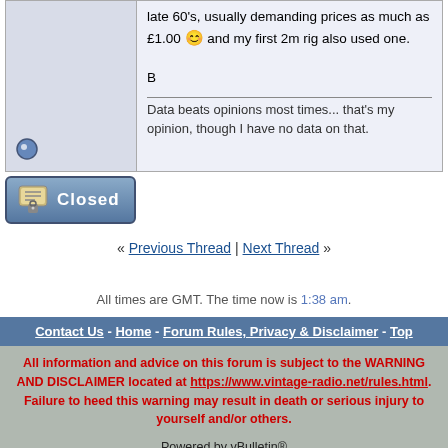late 60's, usually demanding prices as much as £1.00 😊 and my first 2m rig also used one.

B

Data beats opinions most times... that's my opinion, though I have no data on that.
[Figure (other): Closed thread icon with lock and 'Closed' button]
« Previous Thread | Next Thread »
All times are GMT. The time now is 1:38 am.
Contact Us - Home - Forum Rules, Privacy & Disclaimer - Top
All information and advice on this forum is subject to the WARNING AND DISCLAIMER located at https://www.vintage-radio.net/rules.html. Failure to heed this warning may result in death or serious injury to yourself and/or others.
Powered by vBulletin® Copyright ©2000 - 2022, vBulletin Solutions, Inc. Copyright ©2002 - 2021, Paul Stenning.